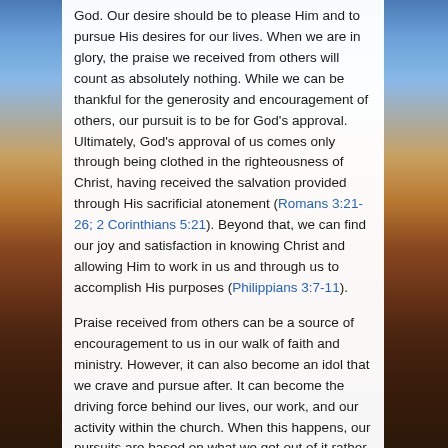God. Our desire should be to please Him and to pursue His desires for our lives. When we are in glory, the praise we received from others will count as absolutely nothing. While we can be thankful for the generosity and encouragement of others, our pursuit is to be for God's approval. Ultimately, God's approval of us comes only through being clothed in the righteousness of Christ, having received the salvation provided through His sacrificial atonement (Romans 3:21-26; 2 Corinthians 5:21). Beyond that, we can find our joy and satisfaction in knowing Christ and allowing Him to work in us and through us to accomplish His purposes (Philippians 3:7-11).
Praise received from others can be a source of encouragement to us in our walk of faith and ministry. However, it can also become an idol that we crave and pursue after. It can become the driving force behind our lives, our work, and our activity within the church. When this happens, our pursuits are based on what we get out of it rather than the glory and purposes of God. In the end,